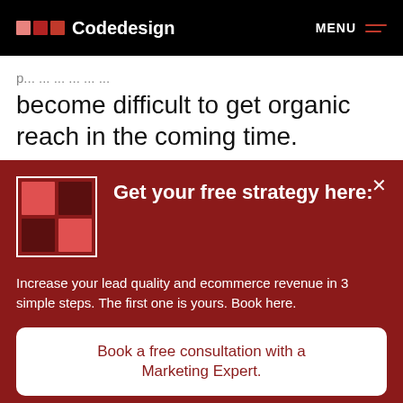Codedesign  MENU
...become difficult to get organic reach in the coming time.
[Figure (infographic): Red promotional panel with Codedesign logo grid, heading 'Get your free strategy here:', body text 'Increase your lead quality and ecommerce revenue in 3 simple steps. The first one is yours. Book here.', and a white CTA button 'Book a free consultation with a Marketing Expert.']